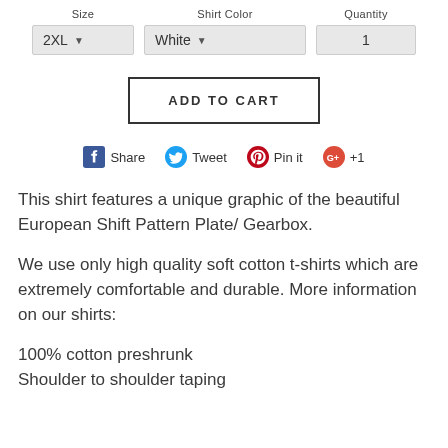[Figure (screenshot): E-commerce product page UI showing Size (2XL dropdown), Shirt Color (White dropdown), and Quantity (1) form controls, an ADD TO CART button, social sharing icons (Facebook Share, Twitter Tweet, Pinterest Pin it, Google+1), and product description text including shirt features and cotton quality info.]
This shirt features a unique graphic of the beautiful European Shift Pattern Plate/ Gearbox.
We use only high quality soft cotton t-shirts which are extremely comfortable and durable. More information on our shirts:
100% cotton preshrunk
Shoulder to shoulder taping